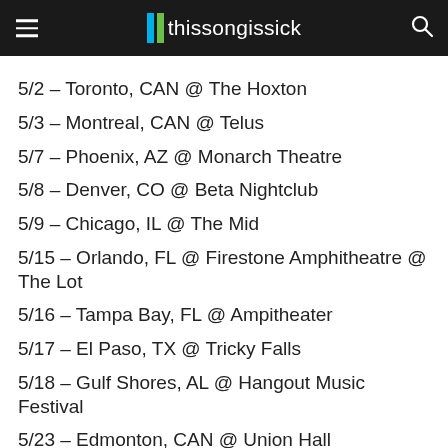thissongissick
5/2 – Toronto, CAN @ The Hoxton
5/3 – Montreal, CAN @ Telus
5/7 – Phoenix, AZ @ Monarch Theatre
5/8 – Denver, CO @ Beta Nightclub
5/9 – Chicago, IL @ The Mid
5/15 – Orlando, FL @ Firestone Amphitheatre @ The Lot
5/16 – Tampa Bay, FL @ Ampitheater
5/17 – El Paso, TX @ Tricky Falls
5/18 – Gulf Shores, AL @ Hangout Music Festival
5/23 – Edmonton, CAN @ Union Hall